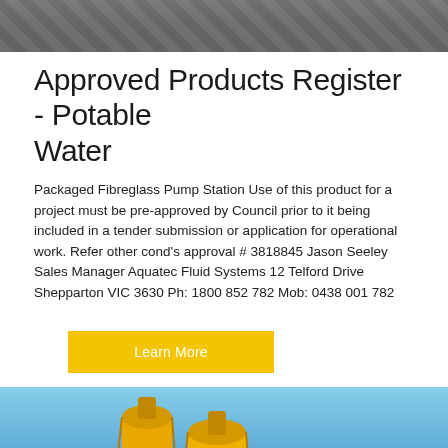[Figure (photo): Top partial photo of what appears to be a tiled or concrete surface, shown cropped at the top of the page.]
Approved Products Register - Potable Water
Packaged Fibreglass Pump Station Use of this product for a project must be pre-approved by Council prior to it being included in a tender submission or application for operational work. Refer other cond's approval # 3818845 Jason Seeley Sales Manager Aquatec Fluid Systems 12 Telford Drive Shepparton VIC 3630 Ph: 1800 852 782 Mob: 0438 001 782
[Figure (other): Yellow button labeled 'Learn More']
[Figure (photo): Photo of two large yellow industrial silos against a blue sky background, with scaffolding and yellow industrial equipment at the base.]